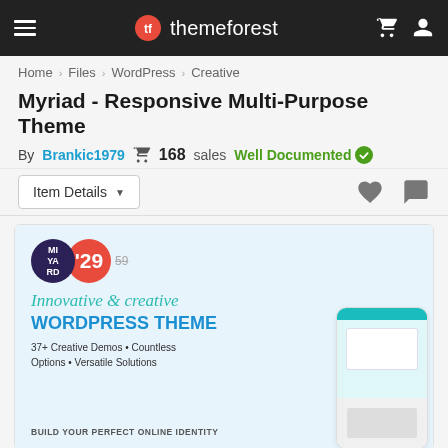themeforest
Home > Files > WordPress > Creative
Myriad - Responsive Multi-Purpose Theme
By Brankic1979   168 sales   Well Documented
Item Details
[Figure (screenshot): Myriad WordPress theme promotional banner showing theme mockups on phones, badges with price '29' (was 59), tagline 'Innovative & creative WORDPRESS THEME', '37+ Creative Demos • Countless Options • Versatile Solutions', 'BUILD YOUR PERFECT ONLINE IDENTITY']
Live Preview